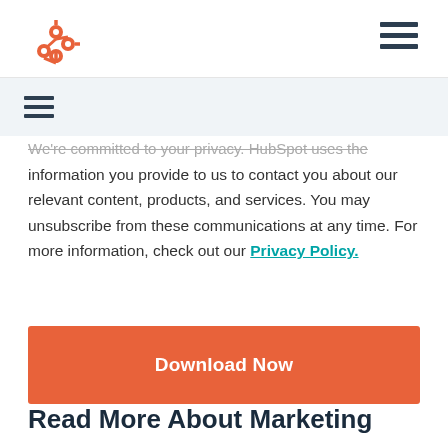[Figure (logo): HubSpot logo in orange at top left]
[Figure (other): Hamburger menu icon at top right]
[Figure (other): Hamburger menu icon at secondary nav left]
We're committed to your privacy. HubSpot uses the information you provide to us to contact you about our relevant content, products, and services. You may unsubscribe from these communications at any time. For more information, check out our Privacy Policy.
Download Now
Read More About Marketing